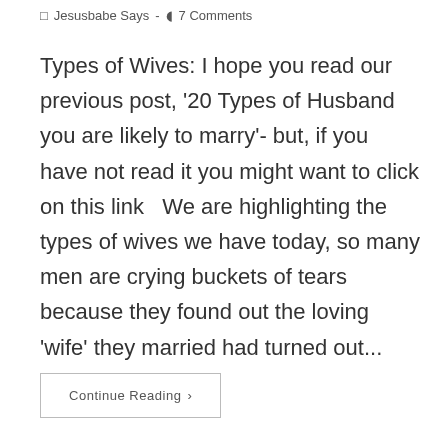Jesusbabe Says · 7 Comments
Types of Wives: I hope you read our previous post, '20 Types of Husband you are likely to marry'- but, if you have not read it you might want to click on this link  We are highlighting the types of wives we have today, so many men are crying buckets of tears because they found out the loving 'wife' they married had turned out...
Continue Reading ›